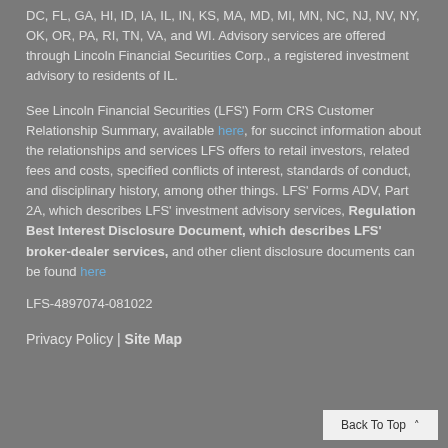DC, FL, GA, HI, ID, IA, IL, IN, KS, MA, MD, MI, MN, NC, NJ, NV, NY, OK, OR, PA, RI, TN, VA, and WI. Advisory services are offered through Lincoln Financial Securities Corp., a registered investment advisory to residents of IL.
See Lincoln Financial Securities (LFS') Form CRS Customer Relationship Summary, available here, for succinct information about the relationships and services LFS offers to retail investors, related fees and costs, specified conflicts of interest, standards of conduct, and disciplinary history, among other things. LFS' Forms ADV, Part 2A, which describes LFS' investment advisory services, Regulation Best Interest Disclosure Document, which describes LFS' broker-dealer services, and other client disclosure documents can be found here
LFS-4897074-081022
Privacy Policy | Site Map
Back To Top